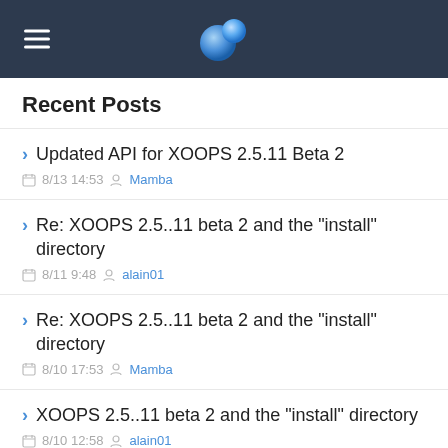XOOPS site header with logo and hamburger menu
Recent Posts
Updated API for XOOPS 2.5.11 Beta 2 — 8/13 14:53 Mamba
Re: XOOPS 2.5..11 beta 2 and the "install" directory — 8/11 9:48 alain01
Re: XOOPS 2.5..11 beta 2 and the "install" directory — 8/10 17:53 Mamba
XOOPS 2.5..11 beta 2 and the "install" directory — 8/10 12:58 alain01
Re: Implement modal calculator — 7/23 2:01 Cesagonchu
Re: Implement modal calculator — 7/12 3:46 Mamba